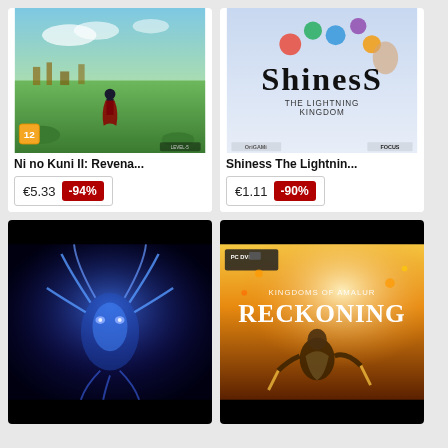[Figure (photo): Ni no Kuni II: Revenant Kingdom game cover art showing a fantasy landscape with a character in a cape, age rating 12 badge]
Ni no Kuni II: Revena...
€5.33  -94%
[Figure (photo): Shiness: The Lightning Kingdom game cover art with colorful characters and decorative lettering, Origami and Focus logos]
Shiness The Lightnin...
€1.11  -90%
[Figure (photo): Dark fantasy game cover art showing a glowing blue creature or monster against a dark background]
[Figure (photo): Kingdoms of Amalur: Reckoning game cover art for PC DVD showing an armored warrior in a fiery scene]